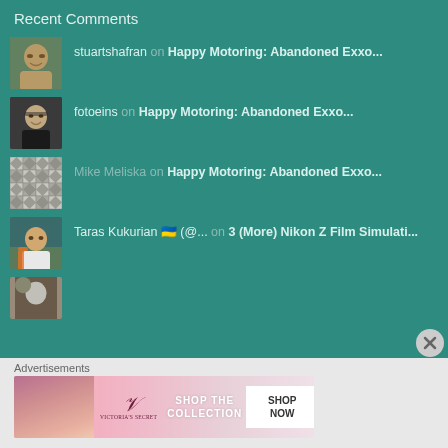Recent Comments
stuartshafran on Happy Motoring: Abandoned Exxo...
fotoeins on Happy Motoring: Abandoned Exxo...
Mike Meliska on Happy Motoring: Abandoned Exxo...
Taras Kukurian 🇺🇦 (@... on 3 (More) Nikon Z Film Simulati...
Advertisements
[Figure (photo): Victoria's Secret advertisement banner with woman, logo, 'SHOP THE COLLECTION' and 'SHOP NOW' button]